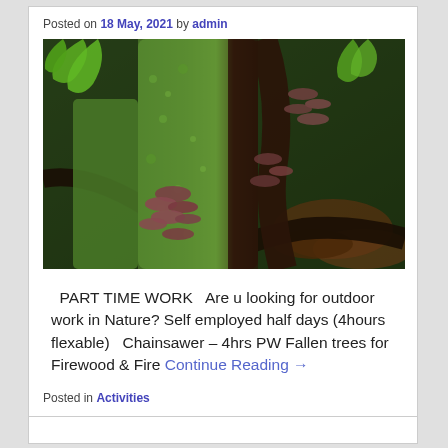Posted on 18 May, 2021 by admin
[Figure (photo): Close-up photograph of a mossy green tree trunk or log with small brown bracket fungi growing on it, surrounded by dark roots and green leaves in a forest setting.]
PART TIME WORK   Are u looking for outdoor work in Nature? Self employed half days (4hours flexable)   Chainsawer – 4hrs PW Fallen trees for Firewood & Fire Continue Reading →
Posted in Activities